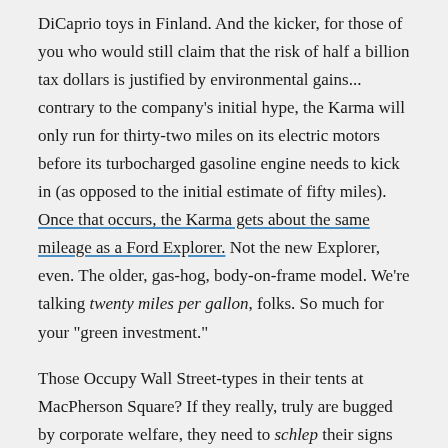DiCaprio toys in Finland. And the kicker, for those of you who would still claim that the risk of half a billion tax dollars is justified by environmental gains... contrary to the company's initial hype, the Karma will only run for thirty-two miles on its electric motors before its turbocharged gasoline engine needs to kick in (as opposed to the initial estimate of fifty miles). Once that occurs, the Karma gets about the same mileage as a Ford Explorer. Not the new Explorer, even. The older, gas-hog, body-on-frame model. We're talking twenty miles per gallon, folks. So much for your "green investment."
Those Occupy Wall Street-types in their tents at MacPherson Square? If they really, truly are bugged by corporate welfare, they need to schlep their signs and their chants and their anger over to the Mandarin Oriental Hotel. Right now. Because the Fisker Karma is where the rubber meets the road when it comes to corporate welfare.